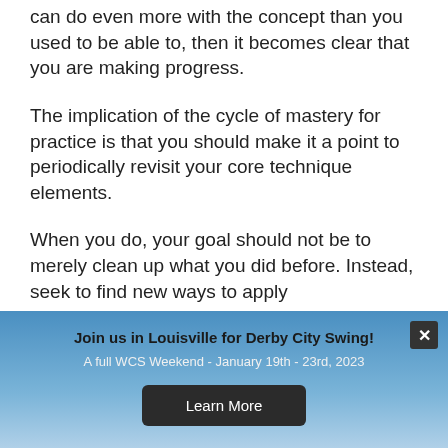can do even more with the concept than you used to be able to, then it becomes clear that you are making progress.
The implication of the cycle of mastery for practice is that you should make it a point to periodically revisit your core technique elements.
When you do, your goal should not be to merely clean up what you did before. Instead, seek to find new ways to apply
Join us in Louisville for Derby City Swing!
A full WCS Weekend - January 19th - 23rd, 2023
Learn More